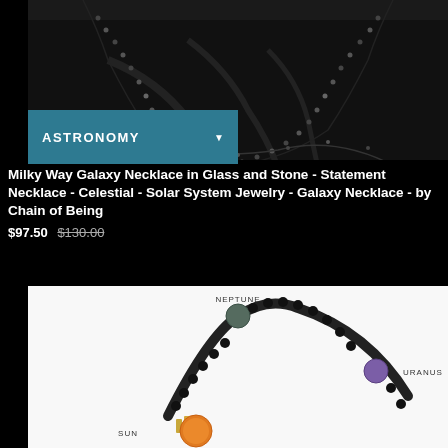[Figure (photo): Person wearing a black top with a long black beaded Milky Way Galaxy necklace draped across their chest]
ASTRONOMY ▼
Milky Way Galaxy Necklace in Glass and Stone - Statement Necklace - Celestial - Solar System Jewelry - Galaxy Necklace - by Chain of Being
$97.50 $130.00
[Figure (photo): Solar system bracelet made of black beads with labeled planet stones: NEPTUNE (green/gray bead at top), URANUS (purple bead on right), SUN (orange/amber bead with gold spacer on lower left). Other beads form the arc of the bracelet.]